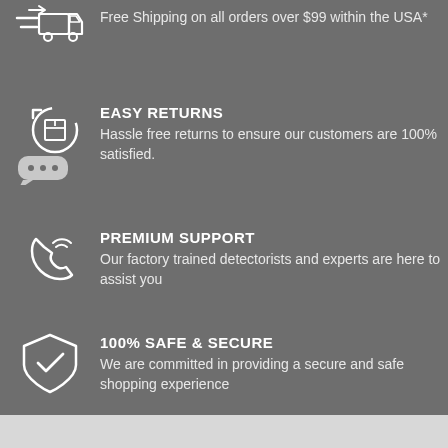[Figure (illustration): Shipping truck icon with speed lines on dark grey background]
Free Shipping on all orders over $99 within the USA*
[Figure (illustration): Box return/recycle icon with chat bubble showing ellipsis]
EASY RETURNS
Hassle free returns to ensure our customers are 100% satisfied.
[Figure (illustration): Phone/call icon with signal waves]
PREMIUM SUPPORT
Our factory trained detectorists and experts are here to assist you
[Figure (illustration): Shield with checkmark icon]
100% SAFE & SECURE
We are committed in providing a secure and safe shopping experience